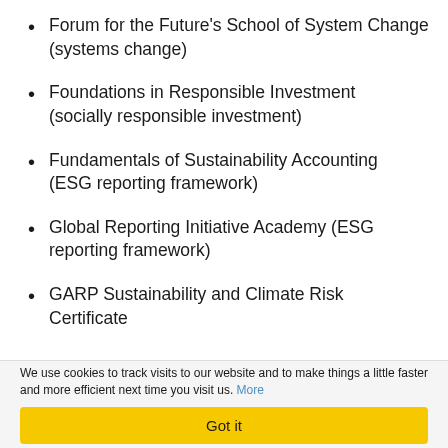Forum for the Future's School of System Change (systems change)
Foundations in Responsible Investment (socially responsible investment)
Fundamentals of Sustainability Accounting (ESG reporting framework)
Global Reporting Initiative Academy (ESG reporting framework)
GARP Sustainability and Climate Risk Certificate
We use cookies to track visits to our website and to make things a little faster and more efficient next time you visit us. More